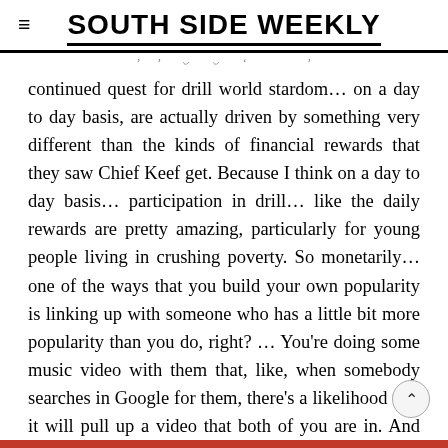SOUTH SIDE WEEKLY
continued quest for drill world stardom… on a day to day basis, are actually driven by something very different than the kinds of financial rewards that they saw Chief Keef get. Because I think on a day to day basis… participation in drill… like the daily rewards are pretty amazing, particularly for young people living in crushing poverty. So monetarily… one of the ways that you build your own popularity is linking up with someone who has a little bit more popularity than you do, right? … You're doing some music video with them that, like, when somebody searches in Google for them, there's a likelihood that it will pull up a video that both of you are in. And once they watch the video with both of you,